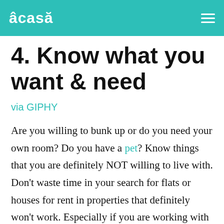âcasă
4. Know what you want & need
via GIPHY
Are you willing to bunk up or do you need your own room? Do you have a pet? Know things that you are definitely NOT willing to live with. Don't waste time in your search for flats or houses for rent in properties that definitely won't work. Especially if you are working with an estate agent, make sure you communicate your expectations about a